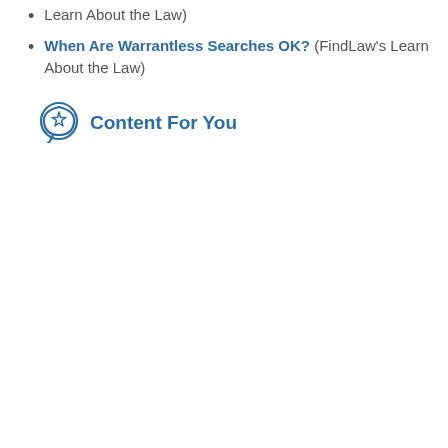Learn About the Law)
When Are Warrantless Searches OK? (FindLaw's Learn About the Law)
Content For You